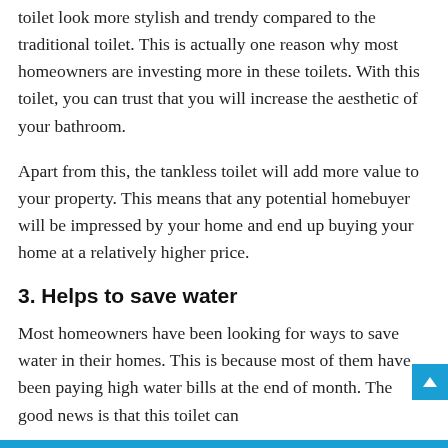toilet look more stylish and trendy compared to the traditional toilet. This is actually one reason why most homeowners are investing more in these toilets. With this toilet, you can trust that you will increase the aesthetic of your bathroom.
Apart from this, the tankless toilet will add more value to your property. This means that any potential homebuyer will be impressed by your home and end up buying your home at a relatively higher price.
3. Helps to save water
Most homeowners have been looking for ways to save water in their homes. This is because most of them have been paying high water bills at the end of month. The good news is that this toilet can